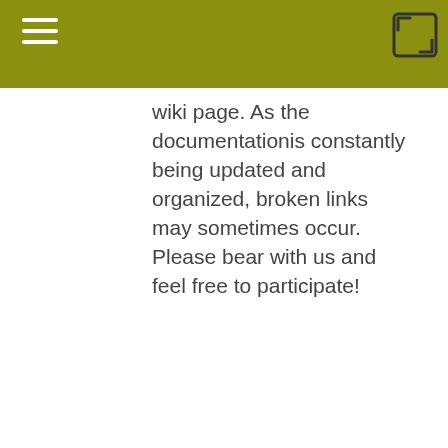corresponding
wiki page. As the documentationis constantly being updated and organized, broken links may sometimes occur. Please bear with us and feel free to participate!
External Libraries
Tiki makes good use of existing and active open source projects such as Zend